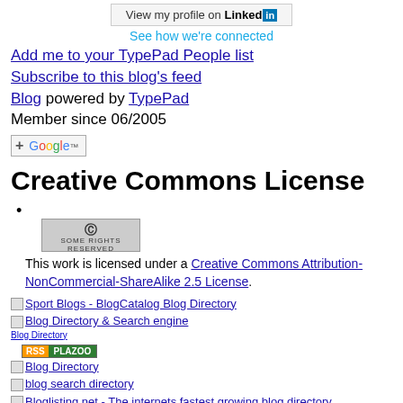[Figure (screenshot): LinkedIn 'View my profile' button]
See how we're connected
Add me to your TypePad People list
Subscribe to this blog's feed
Blog powered by TypePad
Member since 06/2005
[Figure (logo): Add to Google button]
Creative Commons License
Creative Commons 'Some Rights Reserved' badge and license text
This work is licensed under a Creative Commons Attribution-NonCommercial-ShareAlike 2.5 License.
Sport Blogs - BlogCatalog Blog Directory
Blog Directory & Search engine
Blog Directory
[Figure (logo): RSS Plazoo badge]
Blog Directory
blog search directory
Bloglisting.net - The internets fastest growing blog directory